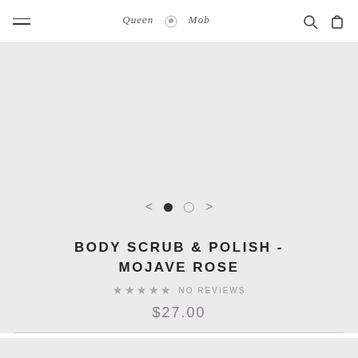Queen Mob — navigation header with hamburger menu, logo, search and cart icons
[Figure (other): Product image area with light gray background (image not loaded), carousel navigation with left arrow, two dots (one filled, one empty), and right arrow]
BODY SCRUB & POLISH - MOJAVE ROSE
★★★★★ NO REVIEWS
$27.00